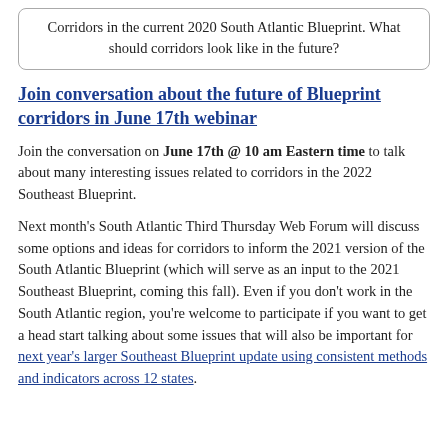Corridors in the current 2020 South Atlantic Blueprint. What should corridors look like in the future?
Join conversation about the future of Blueprint corridors in June 17th webinar
Join the conversation on June 17th @ 10 am Eastern time to talk about many interesting issues related to corridors in the 2022 Southeast Blueprint.
Next month's South Atlantic Third Thursday Web Forum will discuss some options and ideas for corridors to inform the 2021 version of the South Atlantic Blueprint (which will serve as an input to the 2021 Southeast Blueprint, coming this fall). Even if you don't work in the South Atlantic region, you're welcome to participate if you want to get a head start talking about some issues that will also be important for next year's larger Southeast Blueprint update using consistent methods and indicators across 12 states.